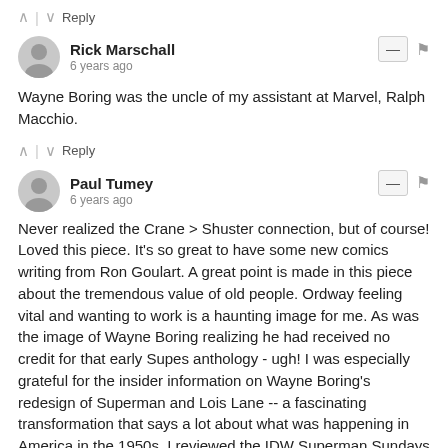↑ | ↓ Reply
Rick Marschall
6 years ago
Wayne Boring was the uncle of my assistant at Marvel, Ralph Macchio.
↑ | ↓ Reply
Paul Tumey
6 years ago
Never realized the Crane > Shuster connection, but of course! Loved this piece. It's so great to have some new comics writing from Ron Goulart. A great point is made in this piece about the tremendous value of old people. Ordway feeling vital and wanting to work is a haunting image for me. As was the image of Wayne Boring realizing he had received no credit for that early Supes anthology - ugh! I was especially grateful for the insider information on Wayne Boring's redesign of Superman and Lois Lane -- a fascinating transformation that says a lot about what was happening in America in the 1950s. I reviewed the IDW Superman Sundays 1943-46 collection a while back -- it's mostly